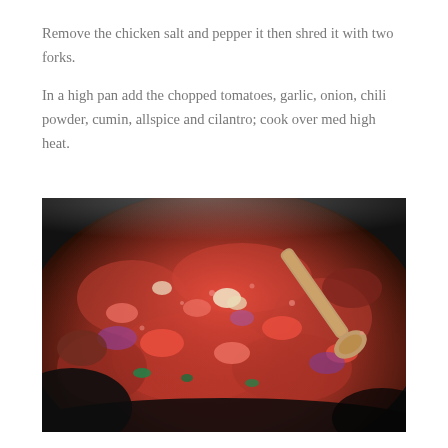Remove the chicken salt and pepper it then shred it with two forks.
In a high pan add the chopped tomatoes, garlic, onion, chili powder, cumin, allspice and cilantro; cook over med high heat.
[Figure (photo): A high pan with chopped tomatoes, garlic, onion, and spices cooking over medium high heat, with a wooden spoon visible in the red tomato sauce mixture.]